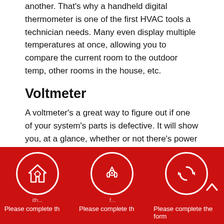another. That’s why a handheld digital thermometer is one of the first HVAC tools a technician needs. Many even display multiple temperatures at once, allowing you to compare the current room to the outdoor temp, other rooms in the house, etc.
Voltmeter
A voltmeter’s a great way to figure out if one of your system’s parts is defective. It will show you, at a glance, whether or not there’s power running through it. This can be a great tool to help your technician narrow down the problem quickly.
Refrigerant scale
How much refrigerant is in your A/C? Not enough, and the system won’t be able to cool your home properly, overworking it in the process. But too much can cause
[Figure (infographic): Red footer bar with three white circle icons: house with gear, hands holding gear, and circular refresh/replace arrows. Below each icon is partial text 'Please complete th' repeated three times across columns.]